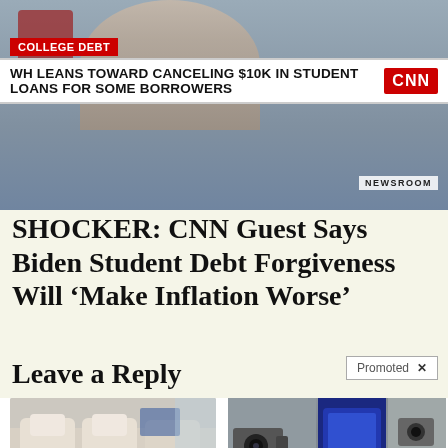[Figure (screenshot): CNN Newsroom screenshot showing anchor with lower-third chyron: COLLEGE DEBT / WH LEANS TOWARD CANCELING $10K IN STUDENT LOANS FOR SOME BORROWERS, with CNN logo and NEWSROOM text]
SHOCKER: CNN Guest Says Biden Student Debt Forgiveness Will ‘Make Inflation Worse’
Leave a Reply
Promoted ×
[Figure (photo): Advertisement: luxury car interior with cream leather seats]
Take A Peek At 2022's Best SUVs For Seniors
🔥 5,131
[Figure (photo): Advertisement: smart lightbulb security cameras mounted on wall]
This Smart "Lightbulb Camera" Is Selling Like Crazy